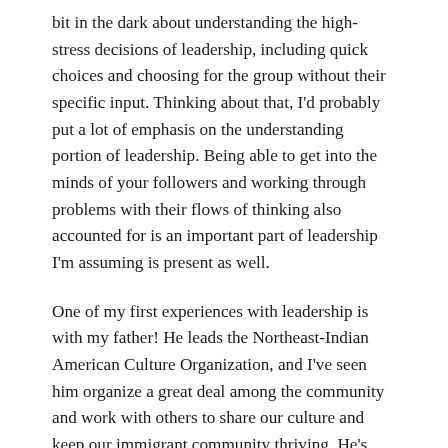bit in the dark about understanding the high-stress decisions of leadership, including quick choices and choosing for the group without their specific input. Thinking about that, I'd probably put a lot of emphasis on the understanding portion of leadership. Being able to get into the minds of your followers and working through problems with their flows of thinking also accounted for is an important part of leadership I'm assuming is present as well.
One of my first experiences with leadership is with my father! He leads the Northeast-Indian American Culture Organization, and I've seen him organize a great deal among the community and work with others to share our culture and keep our immigrant community thriving. He's been a great role model and has shown that leadership if done right, benefits?